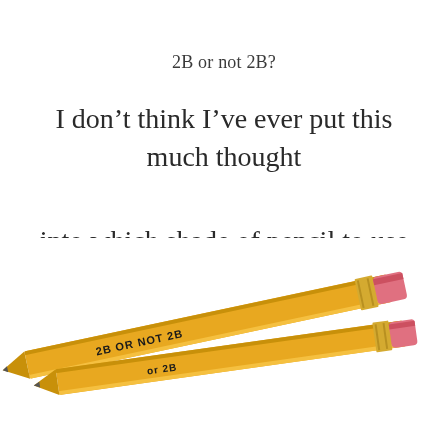2B or not 2B?
I don’t think I’ve ever put this much thought
into which shade of pencil to use before.
[Figure (photo): Two yellow pencils labeled '2B OR NOT 2B' and 'or 2B', with pink erasers, resting diagonally with tips pointing to the lower right.]